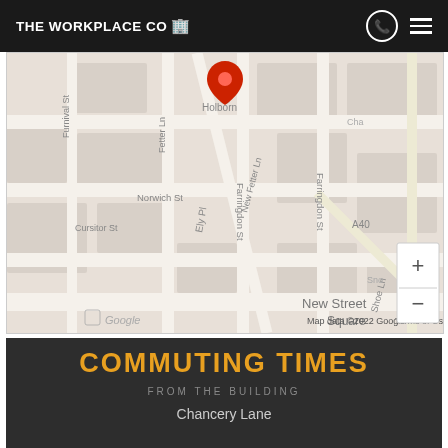THE WORKPLACE CO
[Figure (map): Google Maps screenshot showing area around Ely Place, London EC1. Visible streets include Holborn, Furnival St, Fetter Ln, New Fetter Ln, Cursitor St, Norwich St, Shoe Ln, Farringdon St, A40, New Street Square. A red map pin is placed on Ely Pl. Map data ©2022 Google. Terms of Use shown. Zoom +/- controls visible.]
COMMUTING TIMES
FROM THE BUILDING
Chancery Lane